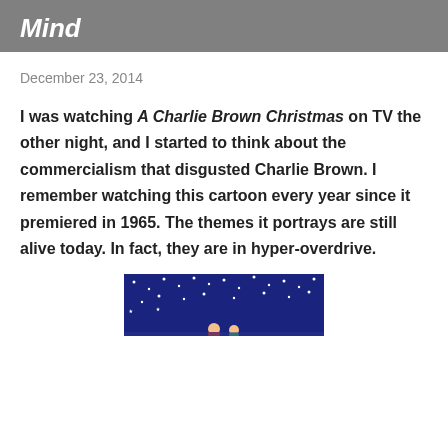Mind
December 23, 2014
I was watching A Charlie Brown Christmas on TV the other night, and I started to think about the commercialism that disgusted Charlie Brown. I remember watching this cartoon every year since it premiered in 1965. The themes it portrays are still alive today. In fact, they are in hyper-overdrive.
[Figure (photo): A Charlie Brown Christmas scene with night sky, stars, and cartoon characters on a dark blue background]